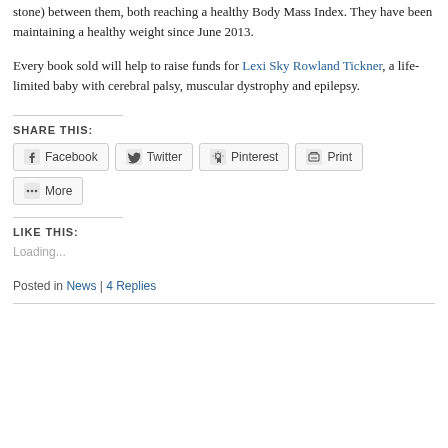stone) between them, both reaching a healthy Body Mass Index. They have been maintaining a healthy weight since June 2013.
Every book sold will help to raise funds for Lexi Sky Rowland Tickner, a life-limited baby with cerebral palsy, muscular dystrophy and epilepsy.
SHARE THIS:
Facebook  Twitter  Pinterest  Print  More
LIKE THIS:
Loading...
Posted in News | 4 Replies